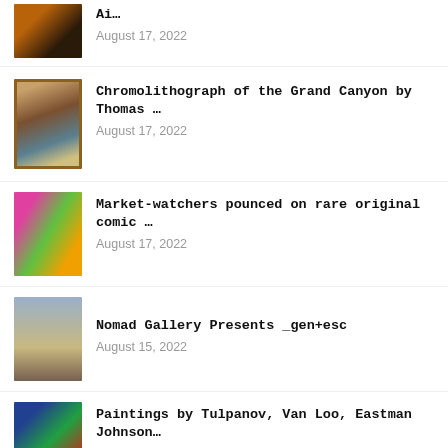Ai…
August 17, 2022
Chromolithograph of the Grand Canyon by Thomas …
August 17, 2022
Market-watchers pounced on rare original comic …
August 17, 2022
Nomad Gallery Presents _gen+esc
August 15, 2022
Paintings by Tulpanov, Van Loo, Eastman Johnson…
August 16, 2022
8th Annual Figure & Form Art Competition…